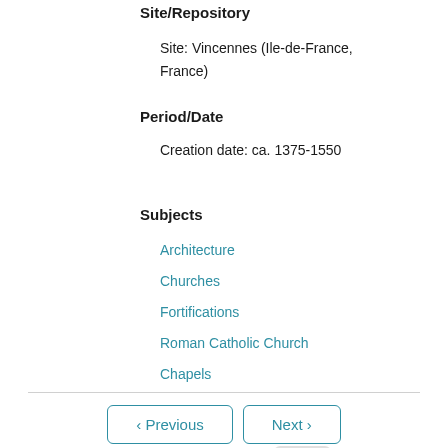Site/Repository
Site: Vincennes (Ile-de-France, France)
Period/Date
Creation date: ca. 1375-1550
Subjects
Architecture
Churches
Fortifications
Roman Catholic Church
Chapels
< Previous   Next >
Go to page: 1 of 5 Go